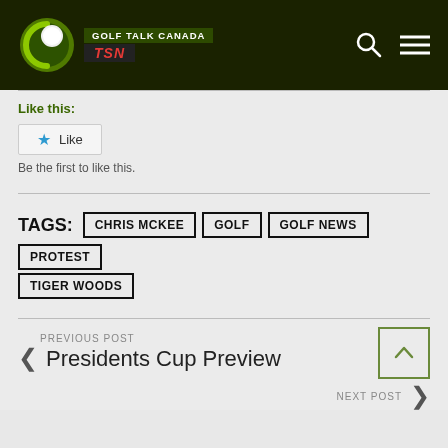[Figure (logo): Golf Talk Canada TSN logo with green golf ball icon on dark background, with search and menu icons]
Like this:
Like
Be the first to like this.
TAGS: CHRIS MCKEE  GOLF  GOLF NEWS  PROTEST  TIGER WOODS
PREVIOUS POST
Presidents Cup Preview
NEXT POST